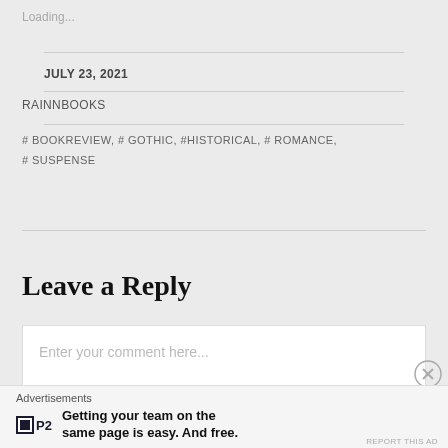Loading...
JULY 23, 2021
RAINNBOOKS
# BOOKREVIEW, # GOTHIC, #HISTORICAL, # ROMANCE, # SUSPENSE
Leave a Reply
Enter your comment here...
Advertisements
Getting your team on the same page is easy. And free.
REPORT THIS AD